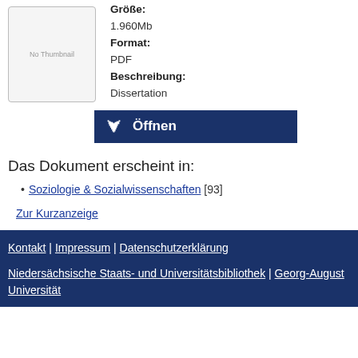[Figure (other): No Thumbnail placeholder box]
Größe:
1.960Mb
Format:
PDF
Beschreibung:
Dissertation
Öffnen
Das Dokument erscheint in:
Soziologie & Sozialwissenschaften [93]
Zur Kurzanzeige
Kontakt | Impressum | Datenschutzerklärung
Niedersächsische Staats- und Universitätsbibliothek | Georg-August Universität